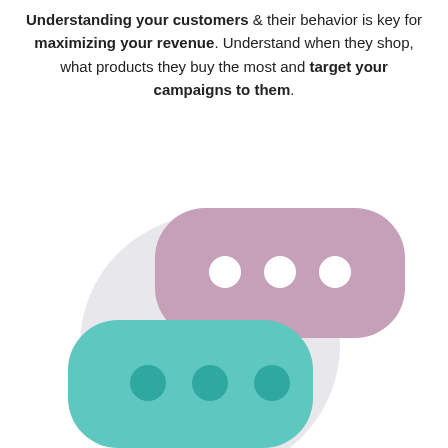Understanding your customers & their behavior is key for maximizing your revenue. Understand when they shop, what products they buy the most and target your campaigns to them.
[Figure (illustration): Two speech bubble icons overlapping: a large pink/mauve bubble on top with three white dots, and a teal/turquoise bubble below-left with three teal dots, both placed on a light gray circular background.]